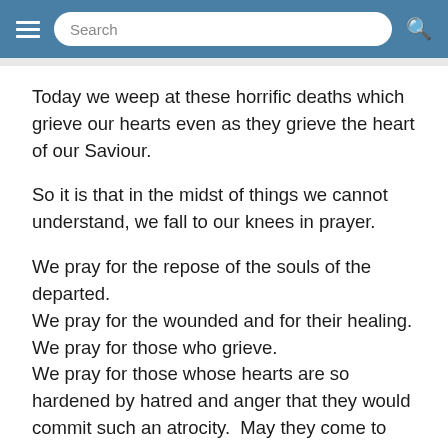Search
Today we weep at these horrific deaths which grieve our hearts even as they grieve the heart of our Saviour.
So it is that in the midst of things we cannot understand, we fall to our knees in prayer.
We pray for the repose of the souls of the departed.
We pray for the wounded and for their healing.
We pray for those who grieve.
We pray for those whose hearts are so hardened by hatred and anger that they would commit such an atrocity.  May they come to know God and the power of his love.
We pray for Orlando and for our nation.
We pray because we know that prayer has power,